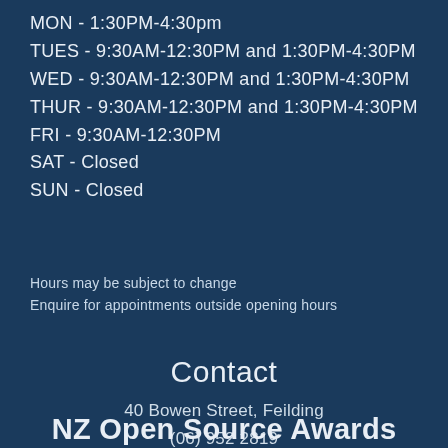MON - 1:30PM-4:30pm
TUES - 9:30AM-12:30PM and 1:30PM-4:30PM
WED - 9:30AM-12:30PM and 1:30PM-4:30PM
THUR - 9:30AM-12:30PM and 1:30PM-4:30PM
FRI - 9:30AM-12:30PM
SAT - Closed
SUN - Closed
Hours may be subject to change
Enquire for appointments outside opening hours
Contact
40 Bowen Street, Feilding
(06) 952 2819
Email
NZ Open Source Awards